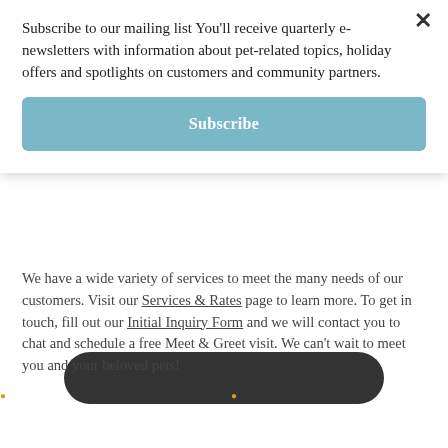Subscribe to our mailing list You'll receive quarterly e-newsletters with information about pet-related topics, holiday offers and spotlights on customers and community partners.
Subscribe
[Figure (other): Partial dark rounded shape (bottom of an image, cropped)]
We have a wide variety of services to meet the many needs of our customers. Visit our Services & Rates page to learn more. To get in touch, fill out our Initial Inquiry Form and we will contact you to chat and schedule a free Meet & Greet visit. We can't wait to meet you and your beloved pets!
We are grateful to our clients who have shown us